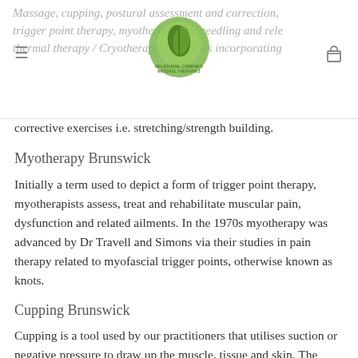Massage, cupping, postural assessment and correction, trigger point therapy, myotherapy, dry needling and release, thermal therapy / Cryotherapy, as well as incorporating corrective exercises i.e. stretching/strength building.
[Figure (logo): Melbourne Combined Natural Therapies logo — green circle with leaf motif and text]
corrective exercises i.e. stretching/strength building.
Myotherapy Brunswick
Initially a term used to depict a form of trigger point therapy, myotherapists assess, treat and rehabilitate muscular pain, dysfunction and related ailments. In the 1970s myotherapy was advanced by Dr Travell and Simons via their studies in pain therapy related to myofascial trigger points, otherwise known as knots.
Cupping Brunswick
Cupping is a tool used by our practitioners that utilises suction or negative pressure to draw up the muscle, tissue and skin. The implementation of cupping as part of